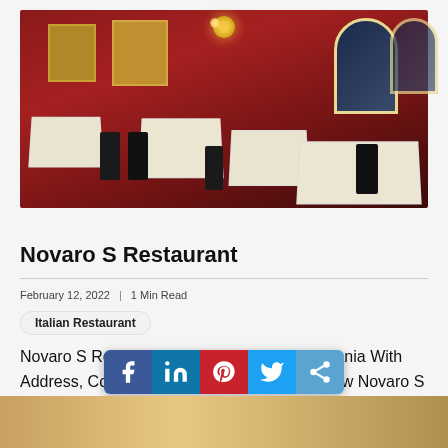[Figure (photo): Interior of Novaro S Restaurant showing red walls, white-tablecloth dining tables with dark chairs, gold-framed mirrors, arched windows, and a decorative chandelier overhead.]
Novaro S Restaurant
February 12, 2022  |  1 Min Read
Italian Restaurant
Novaro S Restaurant In Launceston At Tasmania With Address, Contact Number, Photos, Maps. View Novaro S Restaurant, Launceston In Tasmania.